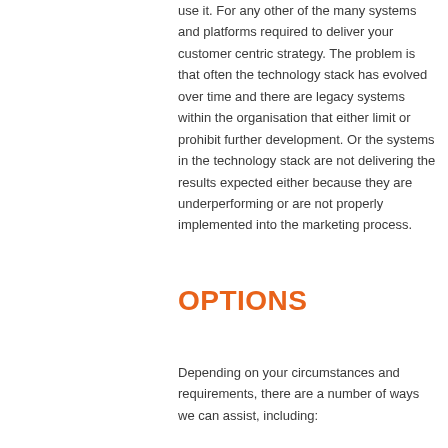use it. For any other of the many systems and platforms required to deliver your customer centric strategy. The problem is that often the technology stack has evolved over time and there are legacy systems within the organisation that either limit or prohibit further development. Or the systems in the technology stack are not delivering the results expected either because they are underperforming or are not properly implemented into the marketing process.
OPTIONS
Depending on your circumstances and requirements, there are a number of ways we can assist, including: